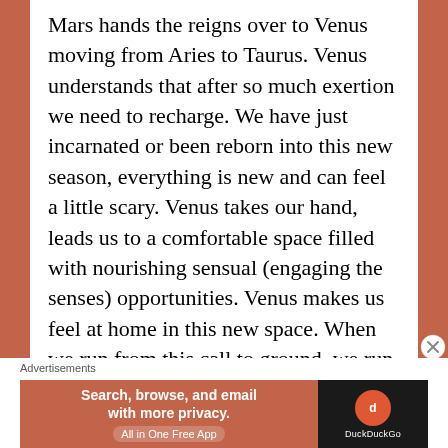Mars hands the reigns over to Venus moving from Aries to Taurus. Venus understands that after so much exertion we need to recharge. We have just incarnated or been reborn into this new season, everything is new and can feel a little scary. Venus takes our hand, leads us to a comfortable space filled with nourishing sensual (engaging the senses) opportunities. Venus makes us feel at home in this new space. When we run from this call to ground, we run ourselves into the ground. We are on the route to burnout (come on firey Mars). We need this earthiness
Advertisements
[Figure (other): DuckDuckGo advertisement banner — text reads 'Search, browse, and email with more privacy. All in One Free App' with DuckDuckGo logo on dark background]